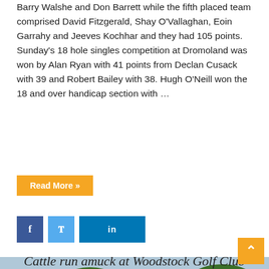Barry Walshe and Don Barrett while the fifth placed team comprised David Fitzgerald, Shay O'Vallaghan, Eoin Garrahy and Jeeves Kochhar and they had 105 points. Sunday's 18 hole singles competition at Dromoland was won by Alan Ryan with 41 points from Declan Cusack with 39 and Robert Bailey with 38. Hugh O'Neill won the 18 and over handicap section with …
Read More »
[Figure (photo): A man in a light blue polo shirt and dark trousers standing on a golf course fairway with hands on hips, looking down. A green golf cart is visible in the background, surrounded by trees.]
Cattle run amuck at Woodstock Golf Club